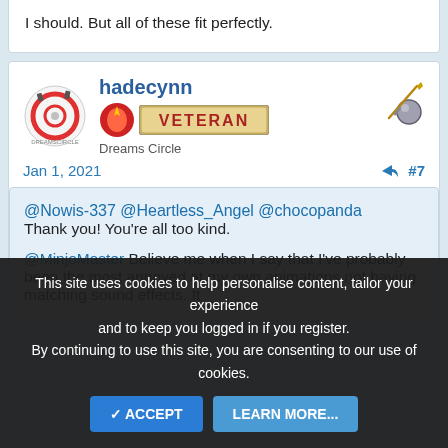I should. But all of these fit perfectly.
hadecynn
Dreams Circle
Jan 1, 2021
#7
@Nowis-337 @Heartless_Angel @chocopanda Thank you! You're all too kind.
@MinjoMaster Believe me when I say that I've probably been the most annoyed at my own animations not having matching sound effects. It
This site uses cookies to help personalise content, tailor your experience and to keep you logged in if you register.
By continuing to use this site, you are consenting to our use of cookies.